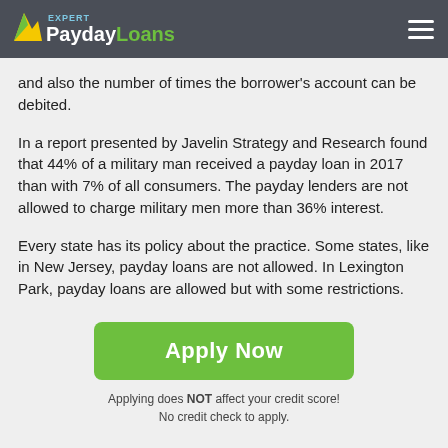Expert PaydayLoans
and also the number of times the borrower's account can be debited.
In a report presented by Javelin Strategy and Research found that 44% of a military man received a payday loan in 2017 than with 7% of all consumers. The payday lenders are not allowed to charge military men more than 36% interest.
Every state has its policy about the practice. Some states, like in New Jersey, payday loans are not allowed. In Lexington Park, payday loans are allowed but with some restrictions.
[Figure (other): Green Apply Now button]
Applying does NOT affect your credit score! No credit check to apply.